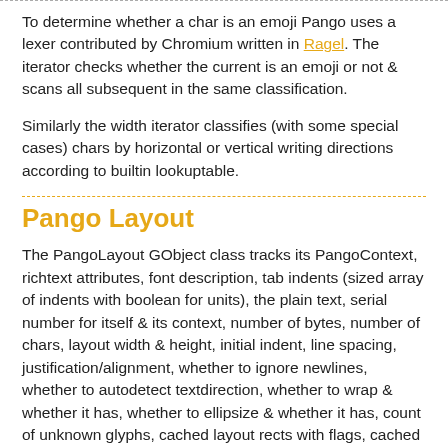To determine whether a char is an emoji Pango uses a lexer contributed by Chromium written in Ragel. The iterator checks whether the current is an emoji or not & scans all subsequent in the same classification.
Similarly the width iterator classifies (with some special cases) chars by horizontal or vertical writing directions according to builtin lookuptable.
Pango Layout
The PangoLayout GObject class tracks its PangoContext, richtext attributes, font description, tab indents (sized array of indents with boolean for units), the plain text, serial number for itself & its context, number of bytes, number of chars, layout width & height, initial indent, line spacing, justification/alignment, whether to ignore newlines, whether to autodetect textdirection, whether to wrap & whether it has, whether to ellipsize & whether it has, count of unknown glyphs, cached layout rects with flags, cached tabwidth, a decimal mode, resulting logical attributes, list of resulting lines, & a linecount. There is bitpacking involved, there's a couple fields denoting which fields (the bulk of them) should